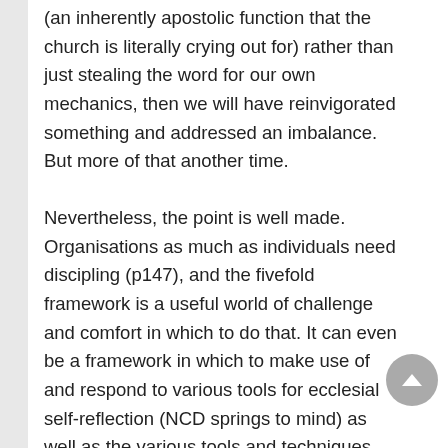(an inherently apostolic function that the church is literally crying out for) rather than just stealing the word for our own mechanics, then we will have reinvigorated something and addressed an imbalance. But more of that another time.
Nevertheless, the point is well made. Organisations as much as individuals need discipling (p147), and the fivefold framework is a useful world of challenge and comfort in which to do that. It can even be a framework in which to make use of and respond to various tools for ecclesial self-reflection (NCD springs to mind) as well as the various tools and techniques that Hirsch hints at in the latter part of the book.
But it takes more than a brand, even a FO brand...